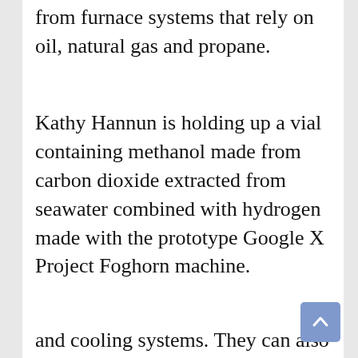from furnace systems that rely on oil, natural gas and propane.
Kathy Hannun is holding up a vial containing methanol made from carbon dioxide extracted from seawater combined with hydrogen made with the prototype Google X Project Foghorn machine.
This website uses cookies to improve and customize the user experience. To learn more, please see our cookie policy.
Ok
Cookie Policy
and cooling systems. They can also